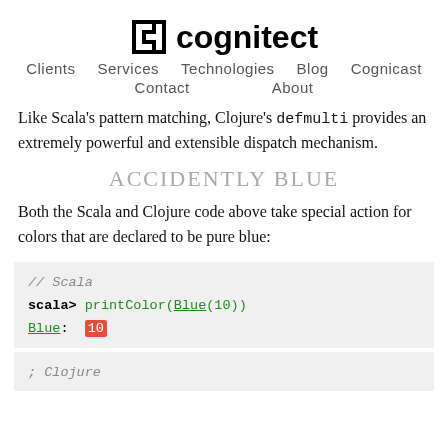cognitect
Clients   Services   Technologies   Blog   Cognicast
Contact   About
Like Scala's pattern matching, Clojure's defmulti provides an extremely powerful and extensible dispatch mechanism.
ACCIDENTLY BLUE
Both the Scala and Clojure code above take special action for colors that are declared to be pure blue:
// Scala
scala> printColor(Blue(10))
Blue:  10
; Clojure